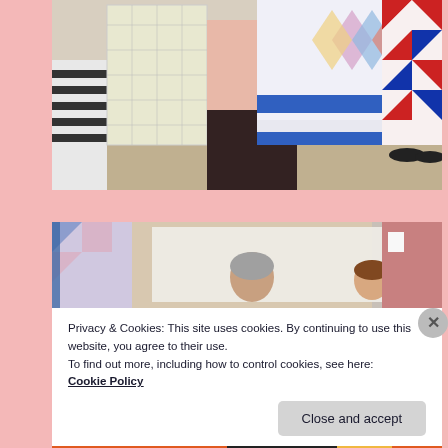[Figure (photo): People in a room holding up and displaying quilts with various colorful patterns including blue/white stripes, red/white/navy geometric, and multicolor designs.]
[Figure (photo): Close-up of people in a room examining a large light-colored quilt; person in pink on the right.]
Privacy & Cookies: This site uses cookies. By continuing to use this website, you agree to their use.
To find out more, including how to control cookies, see here: Cookie Policy
Close and accept